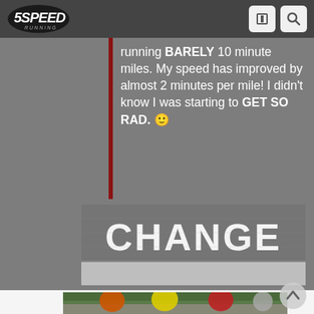5Speed Running - header with logo and navigation icons
running BARELY 10 minute miles. My speed has improved by almost 2 minutes per mile! I didn't know I was starting to GET SO RAD. 🙂
[Figure (photo): Asphalt road texture with bold white text 'CHANGE' and a white stripe below]
[Figure (photo): Group of runners jogging outdoors with green trees in background; people wearing orange, yellow, and red shirts]